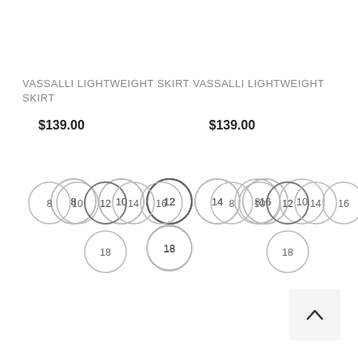VASSALLI LIGHTWEIGHT SKIRT VASSALLI LIGHTWEIGHT SKIRT
$139.00
$139.00
[Figure (other): Two sets of size selector circles. Left set: sizes 8, 10, 12, 14, 16, with 18 below 12. Right set: sizes 8, 10, 12, 14, 16, with 18 below 12.]